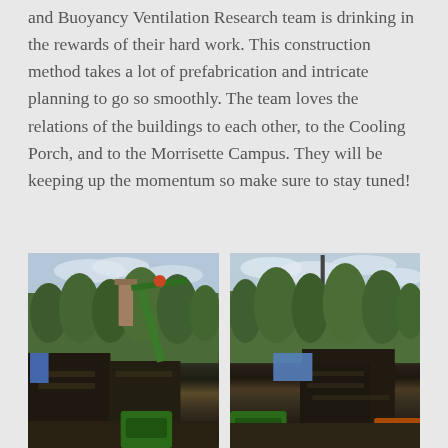and Buoyancy Ventilation Research team is drinking in the rewards of their hard work. This construction method takes a lot of prefabrication and intricate planning to go so smoothly. The team loves the relations of the buildings to each other, to the Cooling Porch, and to the Morrisette Campus. They will be keeping up the momentum so make sure to stay tuned!
[Figure (photo): Construction photo showing dark modular building units being lifted/placed with a green crane, with tall trees and cloudy sky in background. A chimney structure is visible on the left.]
[Figure (photo): Construction photo showing dark modular building units with a tall vertical pole/mast, blue tarp visible, green equipment below, tall trees and partly cloudy sky in background.]